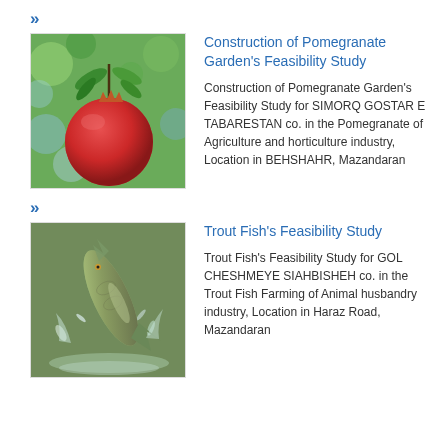»
Construction of Pomegranate Garden's Feasibility Study
[Figure (photo): A red pomegranate fruit hanging on a tree branch with green leaves and orange blossom]
Construction of Pomegranate Garden's Feasibility Study for SIMORQ GOSTAR E TABARESTAN co. in the Pomegranate of Agriculture and horticulture industry, Location in BEHSHAHR, Mazandaran
»
Trout Fish's Feasibility Study
[Figure (photo): A trout fish leaping out of water with splashing water around it]
Trout Fish's Feasibility Study for GOL CHESHMEYE SIAHBISHEH co. in the Trout Fish Farming of Animal husbandry industry, Location in Haraz Road, Mazandaran